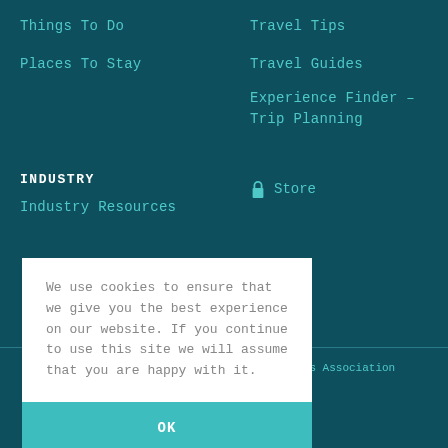Things To Do
Places To Stay
Travel Tips
Travel Guides
Experience Finder – Trip Planning
INDUSTRY
Industry Resources
Store
t Visitors Association
vacy
We use cookies to ensure that we give you the best experience on our website. If you continue to use this site we will assume that you are happy with it.
OK